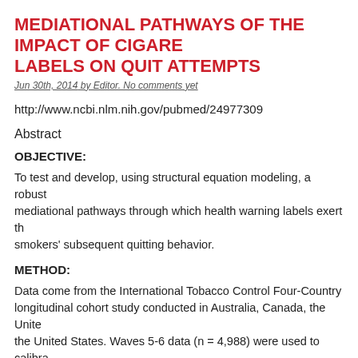MEDIATIONAL PATHWAYS OF THE IMPACT OF CIGARETTE LABELS ON QUIT ATTEMPTS
Jun 30th, 2014 by Editor. No comments yet
http://www.ncbi.nlm.nih.gov/pubmed/24977309
Abstract
OBJECTIVE:
To test and develop, using structural equation modeling, a robust mediational pathways through which health warning labels exert th smokers' subsequent quitting behavior.
METHOD:
Data come from the International Tobacco Control Four-Country longitudinal cohort study conducted in Australia, Canada, the Unite the United States. Waves 5-6 data (n = 4,988) were used to calibra hypothesized model of warning label impact on subsequent quit at of policy-specific and general psychosocial mediators. The finalize